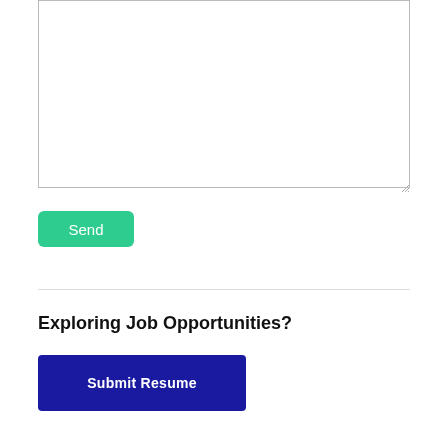[Figure (screenshot): Empty textarea input box with resize handle in bottom-right corner]
Send
Exploring Job Opportunities?
Submit Resume